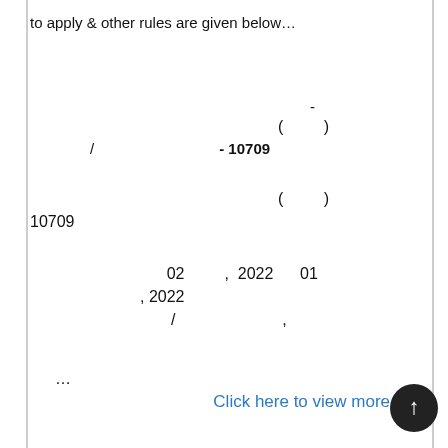to apply & other rules are given below…
-
( )
/ - 10709
( )
10709
02 , 2022 01
, 2022
/ ,
…
Click here to view more